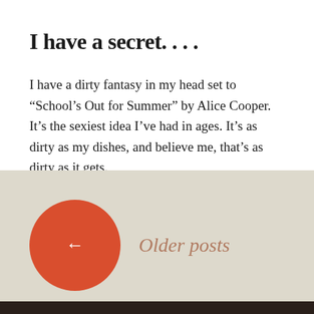I have a secret. . . .
I have a dirty fantasy in my head set to “School’s Out for Summer” by Alice Cooper. It’s the sexiest idea I’ve had in ages. It’s as dirty as my dishes, and believe me, that’s as dirty as it gets.
Leave a comment
[Figure (other): Navigation footer with red circle containing a left arrow and italic text 'Older posts' on a beige/tan background, with a dark brown bar at the very bottom.]